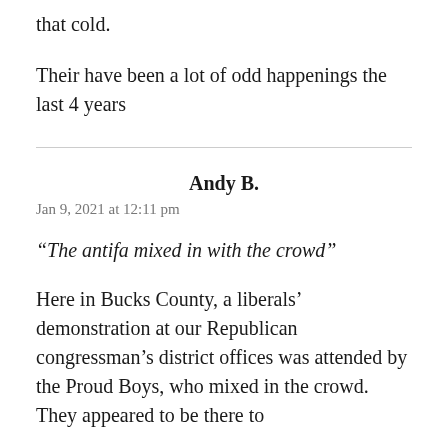that cold.
Their have been a lot of odd happenings the last 4 years
Andy B.
Jan 9, 2021 at 12:11 pm
“The antifa mixed in with the crowd”
Here in Bucks County, a liberals’ demonstration at our Republican congressman’s district offices was attended by the Proud Boys, who mixed in the crowd. They appeared to be there to